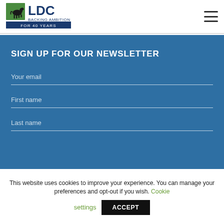[Figure (logo): LDC logo with black horse icon, blue text 'LDC', tagline 'BACKING AMBITION FOR 40 YEARS']
SIGN UP FOR OUR NEWSLETTER
Your email
First name
Last name
This website uses cookies to improve your experience. You can manage your preferences and opt-out if you wish. Cookie settings ACCEPT